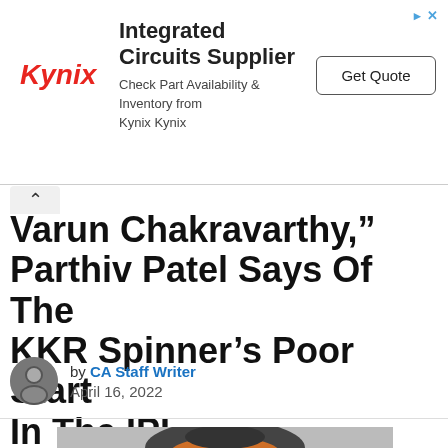[Figure (other): Kynix Integrated Circuits Supplier advertisement banner with Kynix logo, text 'Integrated Circuits Supplier - Check Part Availability & Inventory from Kynix Kynix', and a 'Get Quote' button]
Varun Chakravarthy," Parthiv Patel Says Of The KKR Spinner's Poor Start In The IPL
by CA Staff Writer
April 16, 2022
[Figure (photo): Photo of a cricket player wearing a helmet with orange visor, partially visible at the bottom of the page]